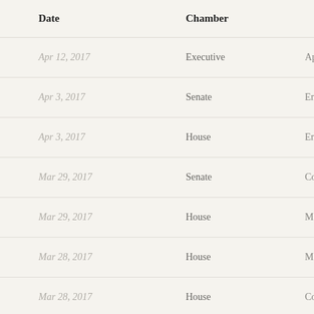| Date | Chamber |  |
| --- | --- | --- |
| Apr 12, 2017 | Executive | Approved by G |
| Apr 3, 2017 | Senate | Enrolled Bill S |
| Apr 3, 2017 | House | Enrolled Bill S |
| Mar 29, 2017 | Senate | Conference Re |
| Mar 29, 2017 | House | Motion to Reco |
| Mar 28, 2017 | House | Motion to Reco |
| Mar 28, 2017 | House | Conference Re |
| Mar 28, 2017 | House | Motion to Reco |